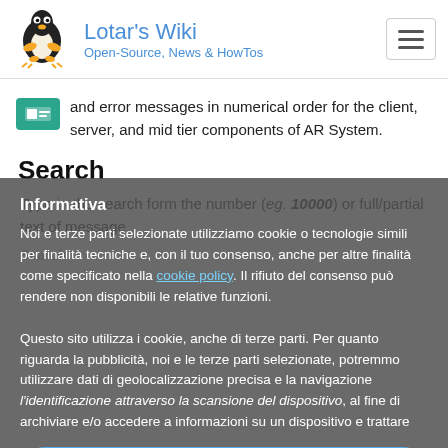Lotar's Wiki — Open-Source, News & HowTos
and error messages in numerical order for the client, server, and mid tier components of AR System.
Search
Type in the search form the number (eg. 10000) or full/partial text of message.
Informativa
Noi e terze parti selezionate utilizziamo cookie o tecnologie simili per finalità tecniche e, con il tuo consenso, anche per altre finalità come specificato nella cookie policy. Il rifiuto del consenso può rendere non disponibili le relative funzioni.
Questo sito utilizza i cookie, anche di terze parti. Per quanto riguarda la pubblicità, noi e le terze parti selezionate, potremmo utilizzare dati di geolocalizzazione precisa e l'identificazione attraverso la scansione del dispositivo, al fine di archiviare e/o accedere a informazioni su un dispositivo e trattare
Accetta
OK   Policy
Scopri di più e personalizza